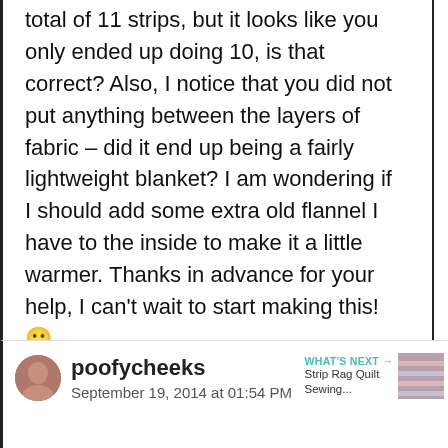total of 11 strips, but it looks like you only ended up doing 10, is that correct? Also, I notice that you did not put anything between the layers of fabric – did it end up being a fairly lightweight blanket? I am wondering if I should add some extra old flannel I have to the inside to make it a little warmer. Thanks in advance for your help, I can't wait to start making this! 🙂
poofycheeks
September 19, 2014 at 01:54 PM